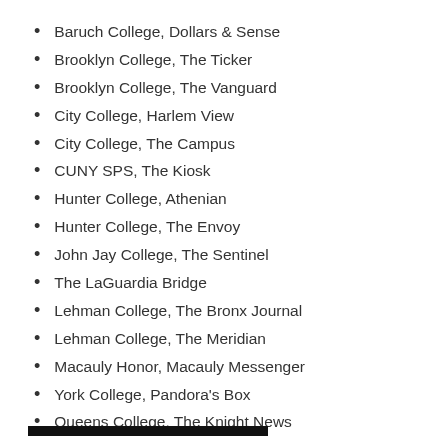Baruch College, Dollars & Sense
Brooklyn College, The Ticker
Brooklyn College, The Vanguard
City College, Harlem View
City College, The Campus
CUNY SPS, The Kiosk
Hunter College, Athenian
Hunter College, The Envoy
John Jay College, The Sentinel
The LaGuardia Bridge
Lehman College, The Bronx Journal
Lehman College, The Meridian
Macauly Honor, Macauly Messenger
York College, Pandora's Box
Queens College, The Knight News